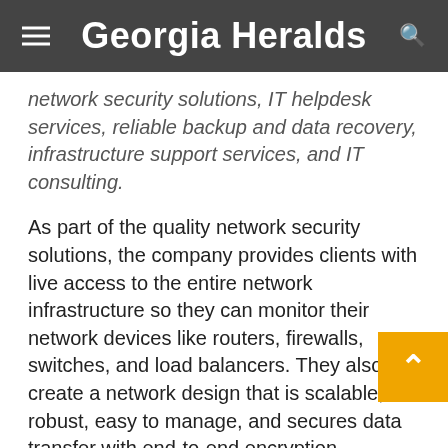Georgia Heralds
network security solutions, IT helpdesk services, reliable backup and data recovery, infrastructure support services, and IT consulting.
As part of the quality network security solutions, the company provides clients with live access to the entire network infrastructure so they can monitor their network devices like routers, firewalls, switches, and load balancers. They also create a network design that is scalable, robust, easy to manage, and secures data transfer with end-to-end encryption.
The company offers 24/7 network monitoring services featuring local, onsite, and remote IT services for businesses in Houston. The company's quality support staff helps computers work